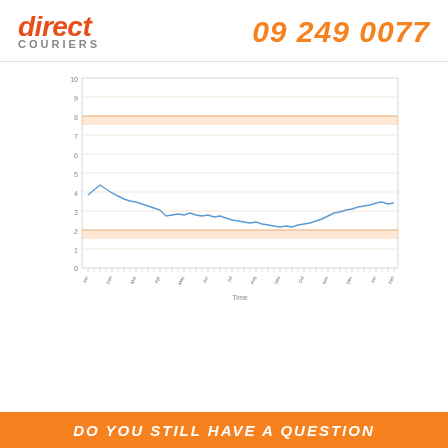direct COURIERS  09 249 0077
[Figure (continuous-plot): Line chart showing a time series trend. The line starts around 3.5, rises briefly to near 4, then trends downward to approximately 2.5-2.7, fluctuating with small ups and downs across many time periods on the x-axis. Two horizontal orange/salmon-colored reference band lines appear near the top (around y=4) and bottom (around y=1) of the chart area. The x-axis shows many date/time labels (too small to read individually) and is labeled 'Time'. The y-axis shows numeric values from roughly 0 to 10.]
DO YOU STILL HAVE A QUESTION